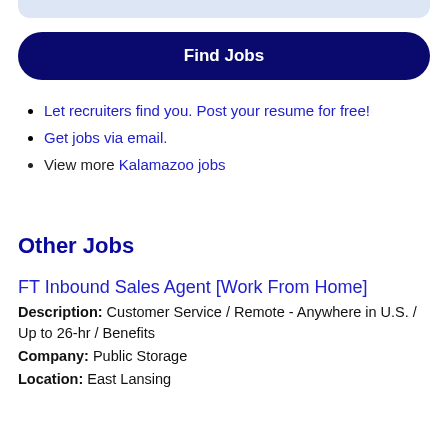[Figure (other): Light blue rounded top bar element, partial UI component]
Find Jobs
Let recruiters find you. Post your resume for free!
Get jobs via email.
View more Kalamazoo jobs
Other Jobs
FT Inbound Sales Agent [Work From Home]
Description: Customer Service / Remote - Anywhere in U.S. / Up to 26-hr / Benefits
Company: Public Storage
Location: East Lansing